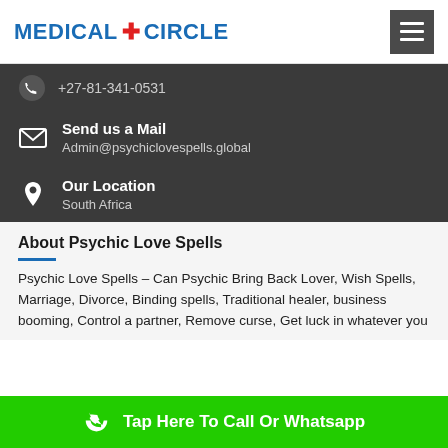MEDICAL + CIRCLE
+27-81-341-0531
Send us a Mail
Admin@psychiclovespells.global
Our Location
South Africa
About Psychic Love Spells
Psychic Love Spells – Can Psychic Bring Back Lover, Wish Spells, Marriage, Divorce, Binding spells, Traditional healer, business booming, Control a partner, Remove curse, Get luck in whatever you
Tap Here To Call Or Whatsapp